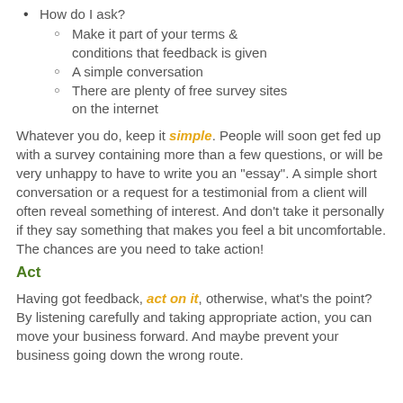How do I ask?
Make it part of your terms & conditions that feedback is given
A simple conversation
There are plenty of free survey sites on the internet
Whatever you do, keep it simple. People will soon get fed up with a survey containing more than a few questions, or will be very unhappy to have to write you an "essay". A simple short conversation or a request for a testimonial from a client will often reveal something of interest. And don't take it personally if they say something that makes you feel a bit uncomfortable. The chances are you need to take action!
Act
Having got feedback, act on it, otherwise, what's the point? By listening carefully and taking appropriate action, you can move your business forward. And maybe prevent your business going down the wrong route.